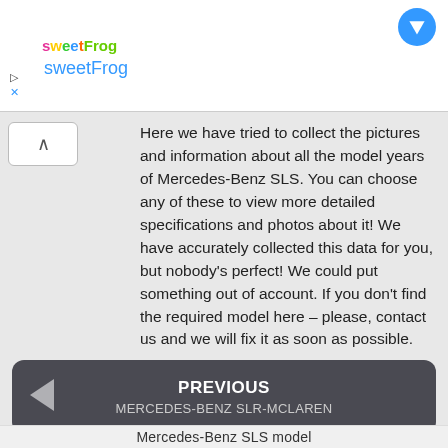[Figure (screenshot): sweetFrog advertisement banner with logo and blue arrow icon]
Here we have tried to collect the pictures and information about all the model years of Mercedes-Benz SLS. You can choose any of these to view more detailed specifications and photos about it! We have accurately collected this data for you, but nobody's perfect! We could put something out of account. If you don't find the required model here – please, contact us and we will fix it as soon as possible.
PREVIOUS
MERCEDES-BENZ SLR-MCLAREN
NEXT
MERCEDES-BENZ SLS-AMG
Mercedes-Ber
Mercedes-Benz SLS model...